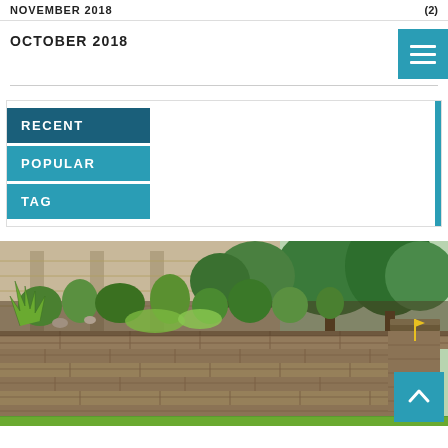NOVEMBER 2018
(2)
OCTOBER 2018
RECENT
POPULAR
TAG
[Figure (photo): A landscaped garden with raised stone retaining walls, various green plants, shrubs, and a residential building in the background.]